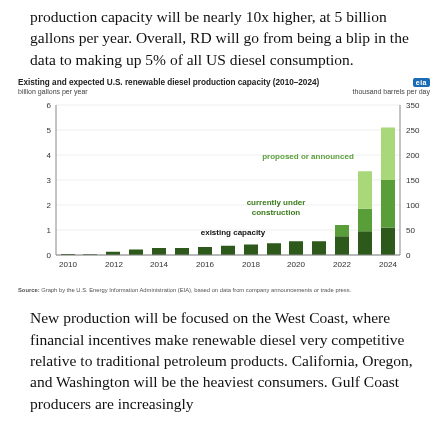production capacity will be nearly 10x higher, at 5 billion gallons per year. Overall, RD will go from being a blip in the data to making up 5% of all US diesel consumption.
[Figure (stacked-bar-chart): Existing and expected U.S. renewable diesel production capacity (2010–2024)]
New production will be focused on the West Coast, where financial incentives make renewable diesel very competitive relative to traditional petroleum products. California, Oregon, and Washington will be the heaviest consumers. Gulf Coast producers are increasingly